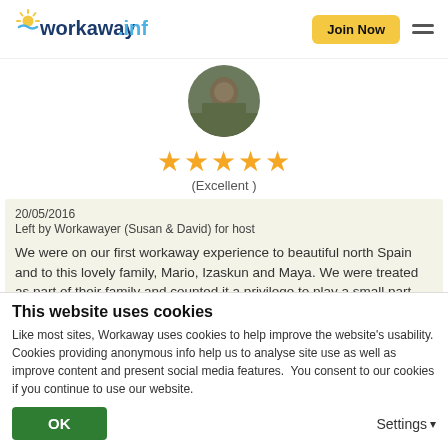workaway.info — Join Now
[Figure (photo): Circular profile photo of a person outdoors]
★★★★★
(Excellent)
20/05/2016
Left by Workawayer (Susan & David) for host

We were on our first workaway experience to beautiful north Spain and to this lovely family, Mario, Izaskun and Maya. We were treated as part of their family and counted it a privilege to play a small part towards their permaculture woodland garden. We learned a great deal from Mario in
This website uses cookies
Like most sites, Workaway uses cookies to help improve the website's usability. Cookies providing anonymous info help us to analyse site use as well as improve content and present social media features.  You consent to our cookies if you continue to use our website.
OK   Settings ▾